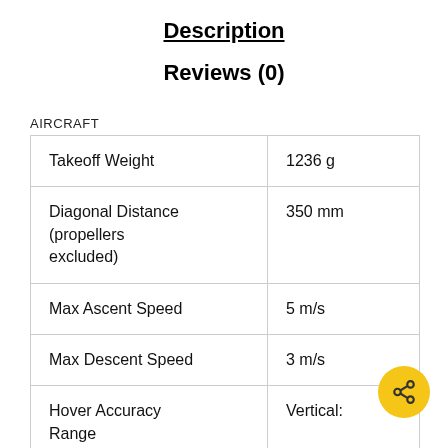Description
Reviews (0)
AIRCRAFT
| Takeoff Weight | 1236 g |
| Diagonal Distance (propellers excluded) | 350 mm |
| Max Ascent Speed | 5 m/s |
| Max Descent Speed | 3 m/s |
| Hover Accuracy Range | Vertical: |